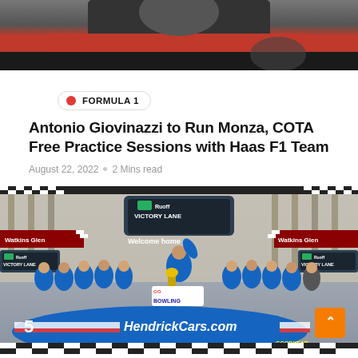[Figure (photo): Top portion of a person wearing a black and red shirt/jersey, cropped at chest level]
FORMULA 1
Antonio Giovinazzi to Run Monza, COTA Free Practice Sessions with Haas F1 Team
August 22, 2022  •  2 Mins read
[Figure (photo): NASCAR Watkins Glen victory lane scene with Ruoff Victory Lane banner, driver celebrating with trophy on car #5 HendrickCars.com, team in blue uniforms]